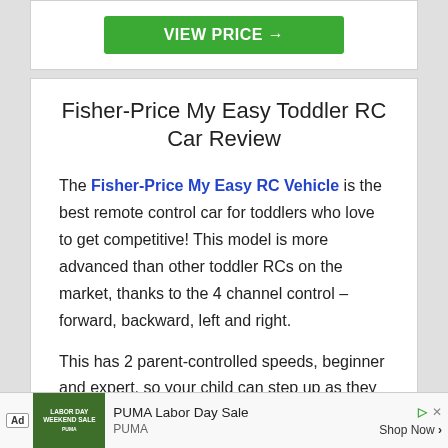[Figure (other): Green VIEW PRICE button at top of card]
Fisher-Price My Easy Toddler RC Car Review
The Fisher-Price My Easy RC Vehicle is the best remote control car for toddlers who love to get competitive! This model is more advanced than other toddler RCs on the market, thanks to the 4 channel control – forward, backward, left and right.
This has 2 parent-controlled speeds, beginner and expert, so your child can step up as they grow in confidence. It has an awesome Ferrari-inspired de... to...
[Figure (other): PUMA Labor Day Sale advertisement banner at bottom]